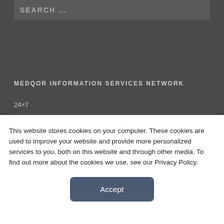SEARCH ...
MEDQOR INFORMATION SERVICES NETWORK
24×7
Axis Imaging News
Clinical Lab Products
This website stores cookies on your computer. These cookies are used to improve your website and provide more personalized services to you, both on this website and through other media. To find out more about the cookies we use, see our Privacy Policy.
Accept